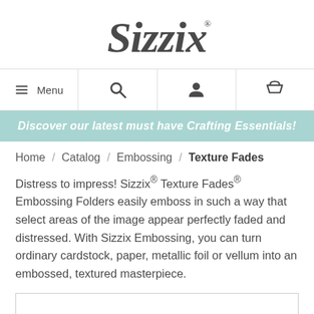Sizzix
Menu | Search | Account | Cart
Discover our latest must have Crafting Essentials!
Home / Catalog / Embossing / Texture Fades
Distress to impress! Sizzix® Texture Fades® Embossing Folders easily emboss in such a way that select areas of the image appear perfectly faded and distressed. With Sizzix Embossing, you can turn ordinary cardstock, paper, metallic foil or vellum into an embossed, textured masterpiece.
[Figure (other): Product image placeholder box with border]